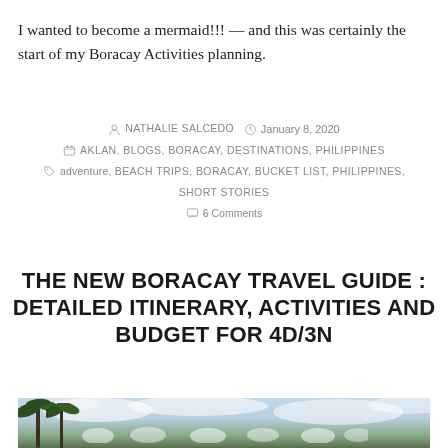I wanted to become a mermaid!!! — and this was certainly the start of my Boracay Activities planning.
By NATHALIE SALCEDO  January 8, 2020
AKLAN, BLOGS, BORACAY, DESTINATIONS, PHILIPPINES
adventure, BEACH TRIPS, BORACAY, BUCKET LIST, PHILIPPINES, SHORT STORIES
6 Comments
THE NEW BORACAY TRAVEL GUIDE : DETAILED ITINERARY, ACTIVITIES AND BUDGET FOR 4D/3N
[Figure (photo): Beach scene with palm trees, cloudy sky, and boats/people visible on the shore — Boracay beach photo]